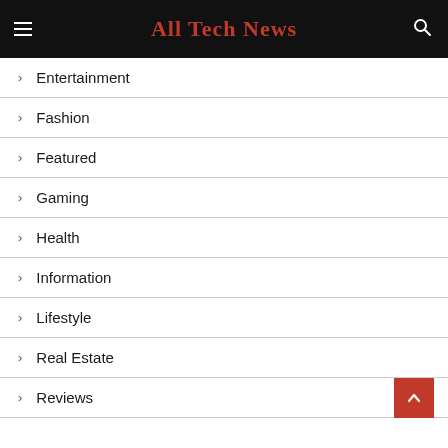All Tech News
Entertainment
Fashion
Featured
Gaming
Health
Information
Lifestyle
Real Estate
Reviews